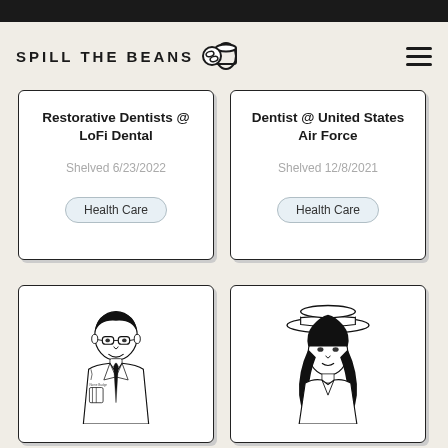SPILL THE BEANS
Restorative Dentists @ LoFi Dental
Shelved 6/23/2022
Health Care
Dentist @ United States Air Force
Shelved 12/8/2021
Health Care
[Figure (illustration): Line drawing illustration of a man wearing glasses and a white doctor's coat with a name badge, smiling, in a professional portrait style]
[Figure (illustration): Line drawing illustration of a woman with long dark hair wearing a wide-brim hat, looking forward, in a portrait style]